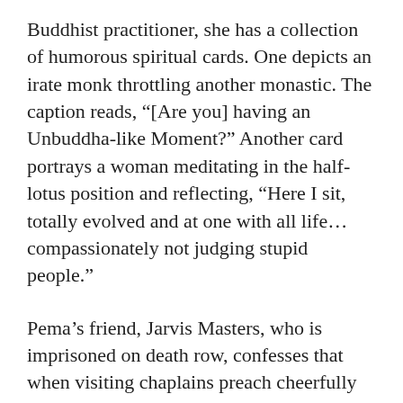Buddhist practitioner, she has a collection of humorous spiritual cards. One depicts an irate monk throttling another monastic. The caption reads, “[Are you] having an Unbuddha-like Moment?” Another card portrays a woman meditating in the half-lotus position and reflecting, “Here I sit, totally evolved and at one with all life…compassionately not judging stupid people.”
Pema’s friend, Jarvis Masters, who is imprisoned on death row, confesses that when visiting chaplains preach cheerfully about virtue, ethics and maintaining a sunny attitude, he wonders, “Am I the only one having a bad thought?” For such…